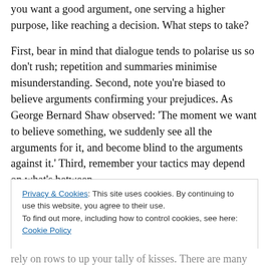you want a good argument, one serving a higher purpose, like reaching a decision. What steps to take?
First, bear in mind that dialogue tends to polarise us so don't rush; repetition and summaries minimise misunderstanding. Second, note you're biased to believe arguments confirming your prejudices. As George Bernard Shaw observed: 'The moment we want to believe something, we suddenly see all the arguments for it, and become blind to the arguments against it.' Third, remember your tactics may depend on what's between
Privacy & Cookies: This site uses cookies. By continuing to use this website, you agree to their use. To find out more, including how to control cookies, see here: Cookie Policy
rely on rows to up your tally of kisses. There are many